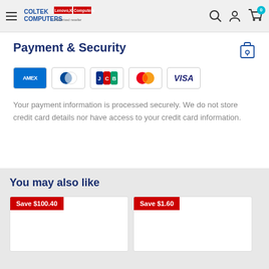Coltek Computers — navigation bar with hamburger menu, logo, search, account, and cart icons
Payment & Security
[Figure (other): Payment method icons: American Express, Diners Club, JCB, Mastercard, Visa]
Your payment information is processed securely. We do not store credit card details nor have access to your credit card information.
You may also like
[Figure (other): Product card with Save $100.40 badge]
[Figure (other): Product card with Save $1.60 badge]